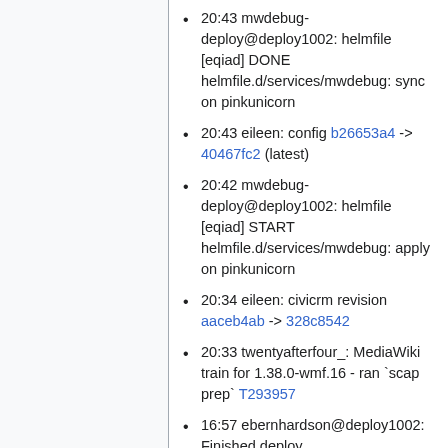20:43 mwdebug-deploy@deploy1002: helmfile [eqiad] DONE helmfile.d/services/mwdebug: sync on pinkunicorn
20:43 eileen: config b26653a4 -> 40467fc2 (latest)
20:42 mwdebug-deploy@deploy1002: helmfile [eqiad] START helmfile.d/services/mwdebug: apply on pinkunicorn
20:34 eileen: civicrm revision aaceb4ab -> 328c8542
20:33 twentyafterfour_: MediaWiki train for 1.38.0-wmf.16 - ran `scap prep` T293957
16:57 ebernhardson@deploy1002: Finished deploy [wikimedia/discovery/analytics@b38fb58... Switch mjolnir